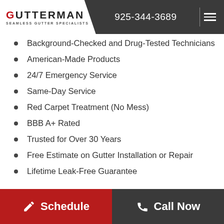GUTTERMAN SEAMLESS GUTTER SPECIALISTS | 925-344-3689
Background-Checked and Drug-Tested Technicians
American-Made Products
24/7 Emergency Service
Same-Day Service
Red Carpet Treatment (No Mess)
BBB A+ Rated
Trusted for Over 30 Years
Free Estimate on Gutter Installation or Repair
Lifetime Leak-Free Guarantee
Schedule | Call Now